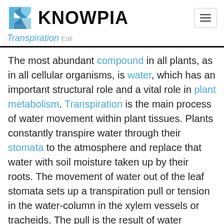KNOWPIA
Transpiration Edit
The most abundant compound in all plants, as in all cellular organisms, is water, which has an important structural role and a vital role in plant metabolism. Transpiration is the main process of water movement within plant tissues. Plants constantly transpire water through their stomata to the atmosphere and replace that water with soil moisture taken up by their roots. The movement of water out of the leaf stomata sets up a transpiration pull or tension in the water-column in the xylem vessels or tracheids. The pull is the result of water surface tension within the cell walls of the mesophyll cells, from the surfaces of which evaporation takes place when the stomata are ope... Hydrogen bonds exist between water molecules,